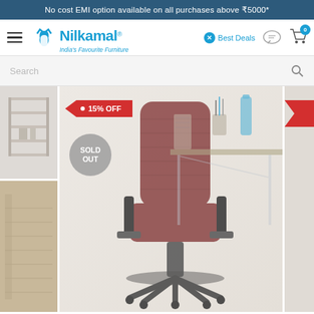No cost EMI option available on all purchases above ₹5000*
[Figure (screenshot): Nilkamal India's Favourite Furniture logo with lotus icon]
Best Deals
Search
[Figure (photo): An office chair in dark red/maroon color with armrests and wheeled base, shown in an office setting with a glass desk. Tagged with 15% OFF and SOLD OUT badges.]